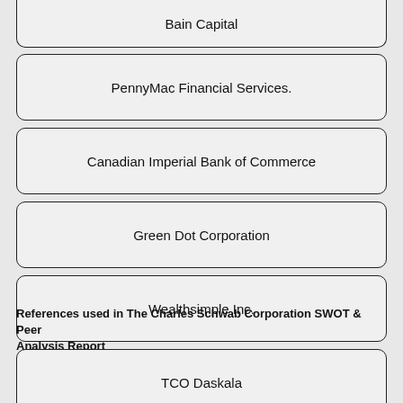Bain Capital
PennyMac Financial Services.
Canadian Imperial Bank of Commerce
Green Dot Corporation
Wealthsimple Inc.
TCO Daskala
References used in The Charles Schwab Corporation SWOT & Peer Analysis Report
Annual Report 2019 - https://content.schwab.com/web/retail/public/about-schwab/schwab_annual_report_2019.pdf